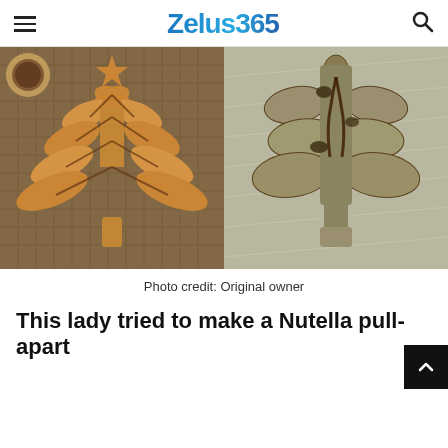Zelus365
[Figure (photo): Side-by-side comparison of a Nutella pull-apart Christmas tree bread: left shows a professional golden-baked tree-shaped pastry, right shows a failed home attempt]
Photo credit: Original owner
This lady tried to make a Nutella pull-apart